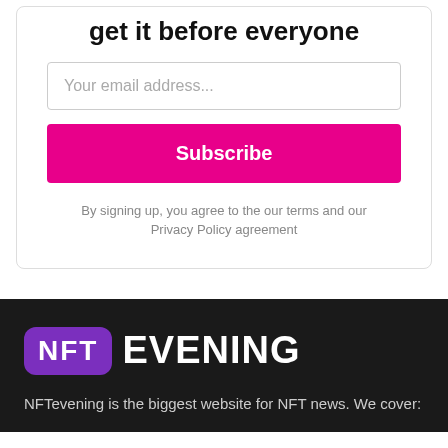get it before everyone
Your email address...
Subscribe
By signing up, you agree to the our terms and our Privacy Policy agreement
[Figure (logo): NFT Evening logo — purple rounded rectangle badge with 'NFT' text in white, followed by 'EVENING' in large white bold text on dark background]
NFTevening is the biggest website for NFT news. We cover: